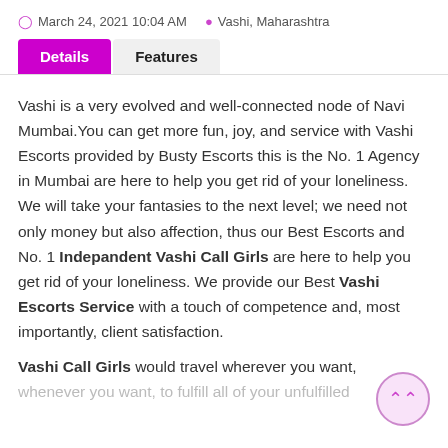March 24, 2021 10:04 AM  Vashi, Maharashtra
Details  Features
Vashi is a very evolved and well-connected node of Navi Mumbai.You can get more fun, joy, and service with Vashi Escorts provided by Busty Escorts this is the No. 1 Agency in Mumbai are here to help you get rid of your loneliness. We will take your fantasies to the next level; we need not only money but also affection, thus our Best Escorts and No. 1 Indepandent Vashi Call Girls are here to help you get rid of your loneliness. We provide our Best Vashi Escorts Service with a touch of competence and, most importantly, client satisfaction.
Vashi Call Girls would travel wherever you want, whenever you want, to fulfill all of your unfulfilled...